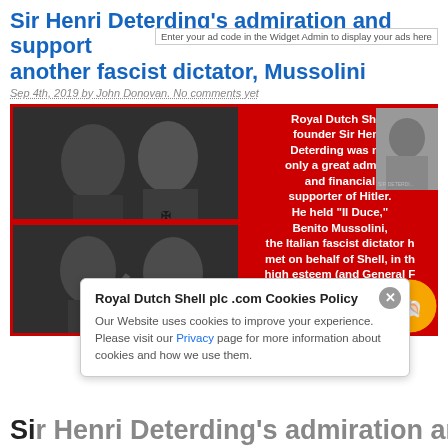Sir Henri Deterding's admiration and support another fascist dictator, Mussolini
Enter your ad code in the Widget Admin to display your ads here
Sep 4th, 2019 by John Donovan. No comments yet
[Figure (photo): Red banner with black and white historical photographs of fascist leaders and white bold text about Royal Dutch Shell founder Sir Henri Deterding]
Royal Dutch Shell plc .com Cookies Policy
Our Website uses cookies to improve your experience. Please visit our Privacy page for more information about cookies and how we use them.
Si... ...rt f...